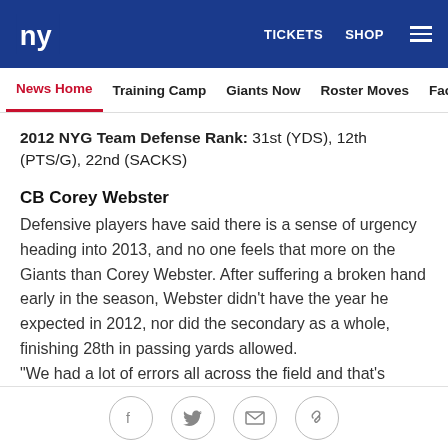NY Giants header with TICKETS, SHOP navigation
News Home | Training Camp | Giants Now | Roster Moves | Fact o
2012 NYG Team Defense Rank: 31st (YDS), 12th (PTS/G), 22nd (SACKS)
CB Corey Webster
Defensive players have said there is a sense of urgency heading into 2013, and no one feels that more on the Giants than Corey Webster. After suffering a broken hand early in the season, Webster didn't have the year he expected in 2012, nor did the secondary as a whole, finishing 28th in passing yards allowed.
"We had a lot of errors all across the field and that's everywhere," Webster said. "So we have to use that fi...